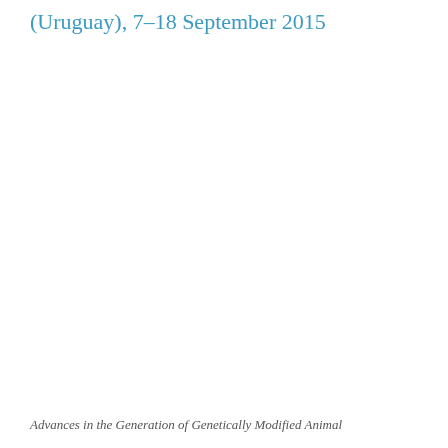(Uruguay), 7–18 September 2015
Advances in the Generation of Genetically Modified Animal